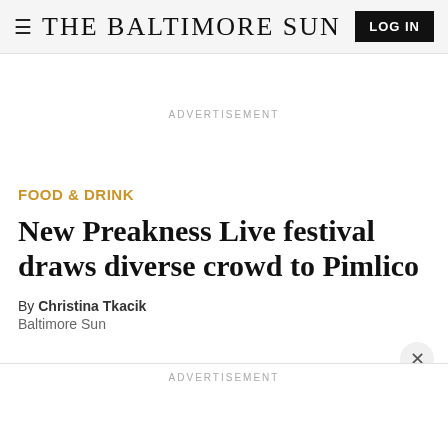≡ THE BALTIMORE SUN  LOG IN
ADVERTISEMENT
FOOD & DRINK
New Preakness Live festival draws diverse crowd to Pimlico
By Christina Tkacik
Baltimore Sun
ADVERTISEMENT